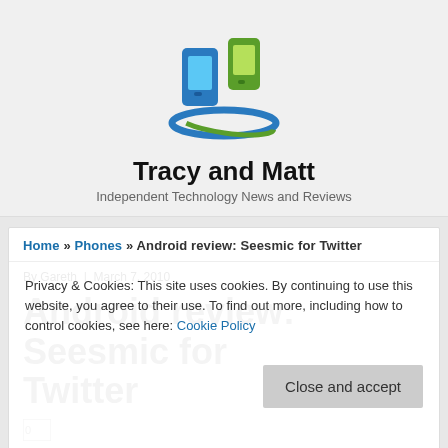[Figure (logo): Tracy and Matt website logo - two mobile phones with a blue swoosh orbit, one phone green-tinted, one blue-tinted]
Tracy and Matt
Independent Technology News and Reviews
Home » Phones » Android review: Seesmic for Twitter
By Gareth   March 7, 2010
Privacy & Cookies: This site uses cookies. By continuing to use this website, you agree to their use. To find out more, including how to control cookies, see here: Cookie Policy
Android review: Seesmic for Twitter
Close and accept